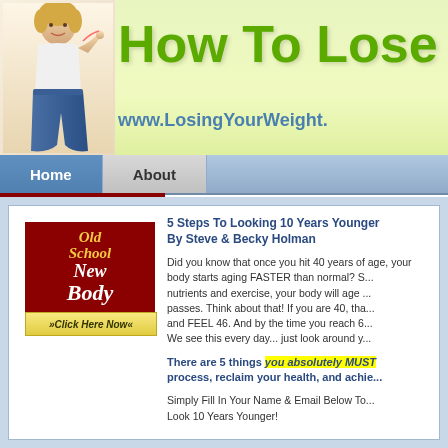[Figure (screenshot): Website header banner with woman holding measuring tape and green gradient background]
How To Lose W
www.LosingYourWeight.
Home  About
[Figure (illustration): Old School New Body advertisement box with dark red background and yellow/white text, with Click Here Now button]
5 Steps To Looking 10 Years Younger By Steve & Becky Holman
Did you know that once you hit 40 years of age, your body starts aging FASTER than normal? S... nutrients and exercise, your body will age ... passes. Think about that! If you are 40, tha... and FEEL 46. And by the time you reach 6... We see this every day... just look around y...
There are 5 things you absolutely MUST... process, reclaim your health, and achie...
Simply Fill In Your Name & Email Below To... Look 10 Years Younger!